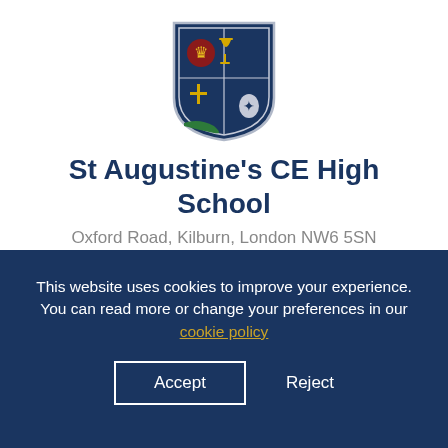[Figure (logo): St Augustine's CE High School crest/shield logo with blue background, cross, and decorative elements]
St Augustine's CE High School
Oxford Road, Kilburn, London NW6 5SN
Telephone: 020 7328 3434
Email: mail@stahigh.org (address all enquires to Ms
This website uses cookies to improve your experience. You can read more or change your preferences in our cookie policy
Accept
Reject